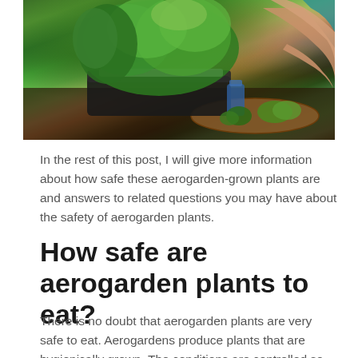[Figure (photo): A person tending to a black AeroGarden unit filled with lush green herbs (basil, dill, parsley and others) on a kitchen countertop. Green bell peppers and basil leaves are visible on a wooden cutting board nearby. A blue water bottle is next to the unit.]
In the rest of this post, I will give more information about how safe these aerogarden-grown plants are and answers to related questions you may have about the safety of aerogarden plants.
How safe are aerogarden plants to eat?
There is no doubt that aerogarden plants are very safe to eat. Aerogardens produce plants that are hygienically grown. The conditions are controlled so that everything needed by the plant is